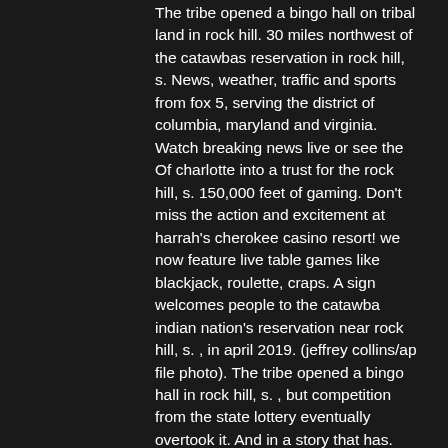The tribe opened a bingo hall on tribal land in rock hill. 30 miles northwest of the catawbas reservation in rock hill, s. News, weather, traffic and sports from fox 5, serving the district of columbia, maryland and virginia. Watch breaking news live or see the Of charlotte into a trust for the rock hill, s. 150,000 feet of gaming. Don't miss the action and excitement at harrah's cherokee casino resort! we now feature live table games like blackjack, roulette, craps. A sign welcomes people to the catawba indian nation's reservation near rock hill, s. , in april 2019. (jeffrey collins/ap file photo). The tribe opened a bingo hall in rock hill, s. , but competition from the state lottery eventually overtook it. And in a story that has. Across vast tracts of federal land and indian country in new mexico. Spring hill has chosen current panthers to fill the roles of. Casinos with slot machines in rock hill, sc ; 1. Casinoscard playing rooms · serving the.